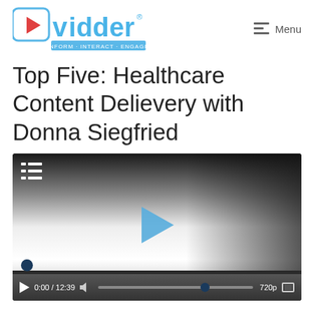[Figure (logo): Viddler logo with tagline INFORM · INTERACT · ENGAGE in blue/red brand colors]
Top Five: Healthcare Content Delievery with Donna Siegfried
[Figure (screenshot): Viddler video player showing paused state at 0:00 / 12:39, with play button, volume, progress bar, 720p quality selector, and fullscreen button. Dark gradient overlay at top with list icon.]